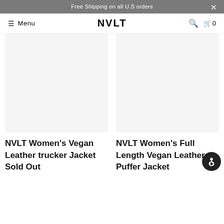Free Shipping on all U.S orders
Menu  NVLT  🔍  🛒 0
[Figure (photo): Product image area for NVLT Women's Vegan Leather trucker Jacket (blank/white placeholder)]
[Figure (photo): Product image area for NVLT Women's Full Length Vegan Leather Puffer Jacket (blank/white placeholder)]
NVLT Women's Vegan Leather trucker Jacket
Sold Out
NVLT Women's Full Length Vegan Leather Puffer Jacket